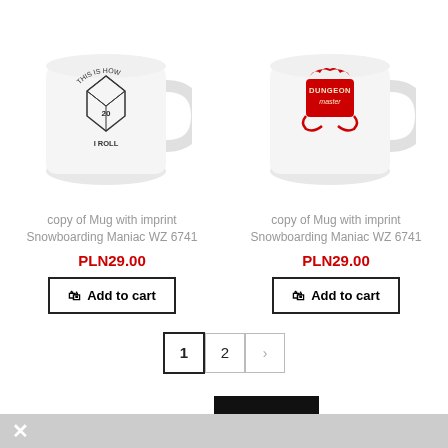[Figure (photo): White ceramic mug with black d20 dice graphic and text 'This is how I roll']
[Figure (photo): White ceramic mug with red Dungeon Master dragon graphic]
copy of Mug with imprint Snowboarding Maniac WZ 6741
PLN29.00
Add to cart
copy of Mug with imprint Snowboarding Maniac WZ 6741
PLN29.00
Add to cart
1  2  >
✕Clear all
OK